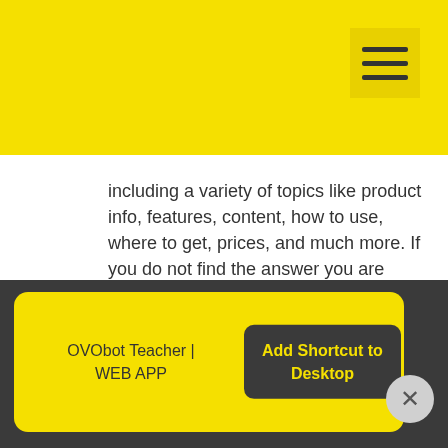[Figure (logo): OVO Robots logo in black on yellow background]
[Figure (other): Hamburger menu icon with three horizontal dark lines on yellow square background]
including a variety of topics like product info, features, content, how to use, where to get, prices, and much more. If you do not find the answer you are looking for, ask us directly via the message box below.
By continuing to use this website, you consent to the use of cookies in accordance with our
OVObot Teacher | WEB APP
Add Shortcut to Desktop